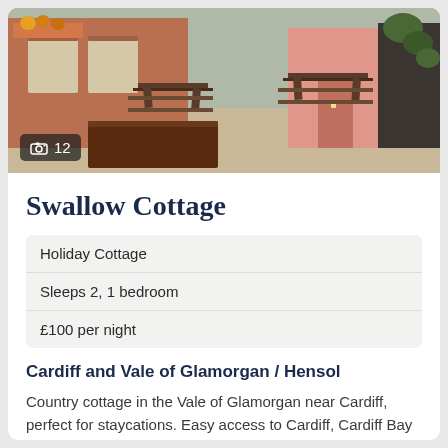[Figure (photo): Exterior photo of a stone cottage with outdoor wooden picnic tables, brick buildings, a pink door, and climbing plants. Photo counter badge showing camera icon and 12.]
Swallow Cottage
| Holiday Cottage |
| Sleeps 2, 1 bedroom |
| £100 per night |
Cardiff and Vale of Glamorgan / Hensol
Country cottage in the Vale of Glamorgan near Cardiff, perfect for staycations. Easy access to Cardiff, Cardiff Bay and the Principality Stadium.
2.3 miles
Info